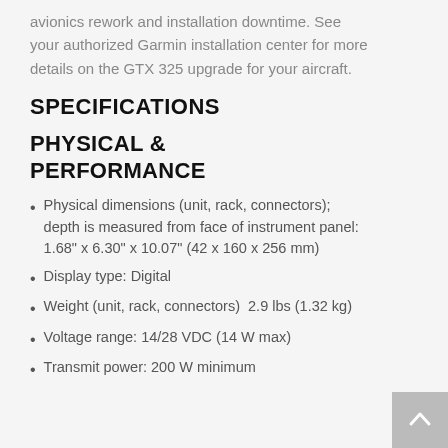avionics rework and installation downtime. See your authorized Garmin installation center for more details on the GTX 325 upgrade for your aircraft.
SPECIFICATIONS
PHYSICAL & PERFORMANCE
Physical dimensions (unit, rack, connectors); depth is measured from face of instrument panel: 1.68" x 6.30" x 10.07" (42 x 160 x 256 mm)
Display type: Digital
Weight (unit, rack, connectors)  2.9 lbs (1.32 kg)
Voltage range: 14/28 VDC (14 W max)
Transmit power: 200 W minimum